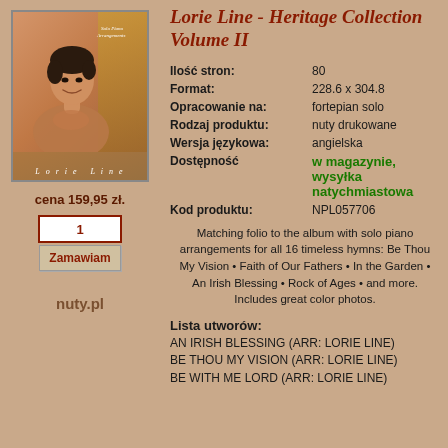[Figure (photo): Album cover photo of Lorie Line - Heritage Collection Volume II showing a woman with short dark hair smiling, warm golden background, text 'Lorie Line' at bottom]
cena 159,95 zł.
1
Zamawiam
nuty.pl
Lorie Line - Heritage Collection Volume II
| Ilość stron: | 80 |
| Format: | 228.6 x 304.8 |
| Opracowanie na: | fortepian solo |
| Rodzaj produktu: | nuty drukowane |
| Wersja językowa: | angielska |
| Dostępność | w magazynie, wysyłka natychmiastowa |
| Kod produktu: | NPL057706 |
Matching folio to the album with solo piano arrangements for all 16 timeless hymns: Be Thou My Vision • Faith of Our Fathers • In the Garden • An Irish Blessing • Rock of Ages • and more. Includes great color photos.
Lista utworów:
AN IRISH BLESSING (ARR: LORIE LINE)
BE THOU MY VISION (ARR: LORIE LINE)
BE WITH ME LORD (ARR: LORIE LINE)